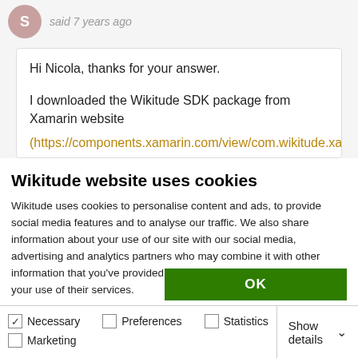said 7 years ago
Hi Nicola, thanks for your answer.
I downloaded the Wikitude SDK package from Xamarin website (https://components.xamarin.com/view/com.wikitude.xamarin
Wikitude website uses cookies
Wikitude uses cookies to personalise content and ads, to provide social media features and to analyse our traffic. We also share information about your use of our site with our social media, advertising and analytics partners who may combine it with other information that you've provided to them or that they've collected from your use of their services.
Learn more about who we are, how you can contact us and how we process personal data in our Privacy Policy.
OK
Necessary  Preferences  Statistics  Marketing  Show details